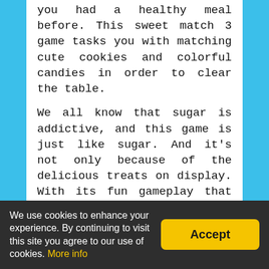you had a healthy meal before. This sweet match 3 game tasks you with matching cute cookies and colorful candies in order to clear the table.
We all know that sugar is addictive, and this game is just like sugar. And it's not only because of the delicious treats on display. With its fun gameplay that you already know and love, Candy Riddles will definitely make you want to return for another serving. And there are lots of challenging levels waiting for you! Once you get the taste, you'll keep returning and try to clear just one
We use cookies to enhance your experience. By continuing to visit this site you agree to our use of cookies. More info